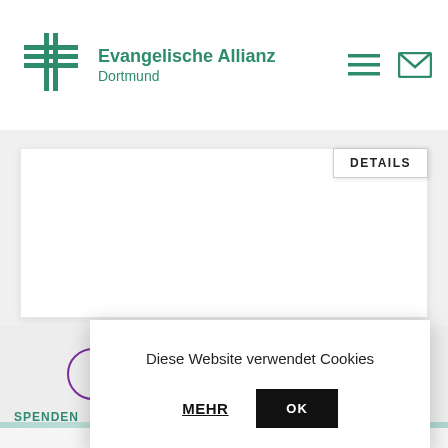[Figure (logo): Evangelische Allianz Dortmund logo with cross symbol in teal/green and organization name]
DETAILS
TERMINE ÜBERSICHT
SPENDEN
KON
Diese Website verwendet Cookies
MEHR
OK